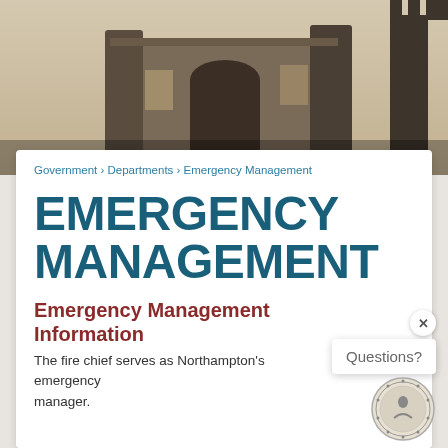[Figure (photo): Architectural photo showing stone columns and battlements of a government building, sepia/warm toned]
Government › Departments › Emergency Management
EMERGENCY MANAGEMENT
Emergency Management Information
The fire chief serves as Northampton's emergency manager.